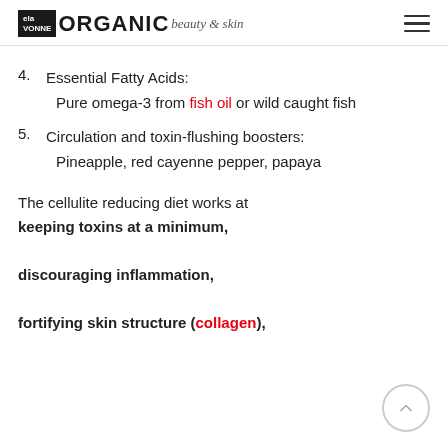ela VONNE ORGANIC beauty & skin
4. Essential Fatty Acids: Pure omega-3 from fish oil or wild caught fish
5. Circulation and toxin-flushing boosters: Pineapple, red cayenne pepper, papaya
The cellulite reducing diet works at keeping toxins at a minimum, discouraging inflammation, fortifying skin structure (collagen),